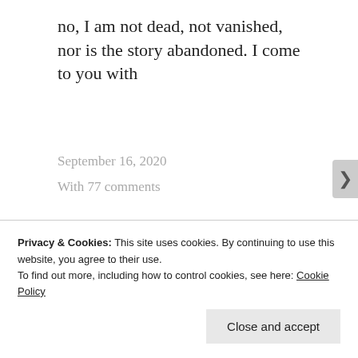no, I am not dead, not vanished, nor is the story abandoned. I come to you with
September 16, 2020
With 77 comments
POSTED IN CHAPTERS, UNCATEGORIZED
Published by mirabell
View all posts by mirabell
[Figure (photo): Ocean/beach photo used as author avatar for mirabell]
Privacy & Cookies: This site uses cookies. By continuing to use this website, you agree to their use.
To find out more, including how to control cookies, see here: Cookie Policy
Close and accept